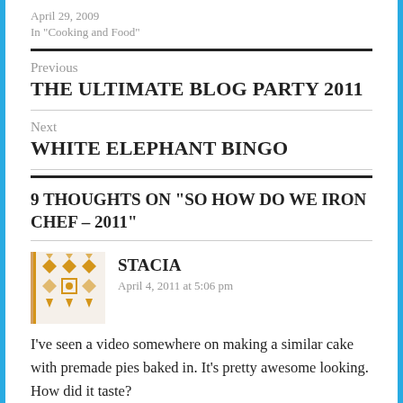April 29, 2009
In “Cooking and Food”
Previous
THE ULTIMATE BLOG PARTY 2011
Next
WHITE ELEPHANT BINGO
9 THOUGHTS ON “SO HOW DO WE IRON CHEF – 2011”
[Figure (illustration): User avatar icon with geometric/aztec orange and tan pattern on light background with orange left border accent]
STACIA
April 4, 2011 at 5:06 pm
I’ve seen a video somewhere on making a similar cake with premade pies baked in. It’s pretty awesome looking. How did it taste?